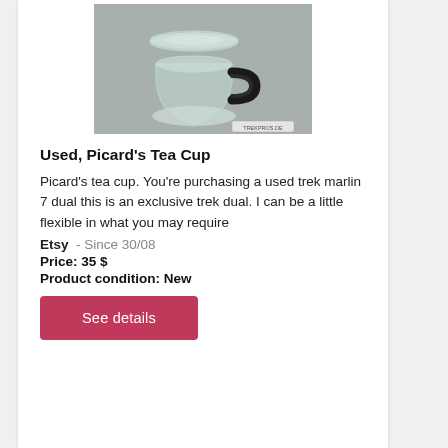[Figure (photo): Photo of a glass tea cup with a black handle, Picard's tea cup, shown on a grey background with a watermark label at the bottom right.]
Used, Picard's Tea Cup
Picard's tea cup. You're purchasing a used trek marlin 7 dual this is an exclusive trek dual. I can be a little flexible in what you may require
Etsy  - Since 30/08
Price: 35 $
Product condition: New
See details